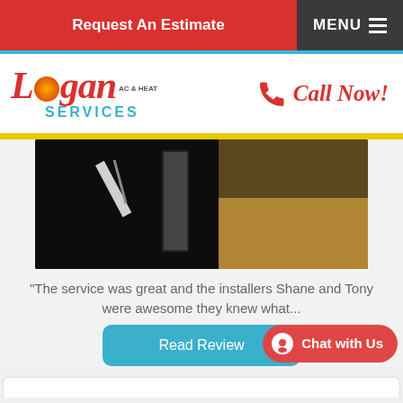Request An Estimate   MENU
[Figure (logo): Logan AC & Heat Services logo with red italic text and teal SERVICES wordmark]
Call Now!
[Figure (photo): Photo of a furnace/HVAC unit installed in a basement, showing dark equipment and piping on a concrete floor]
"The service was great and the installers Shane and Tony were awesome they knew what..."
Read Review
Chat with Us